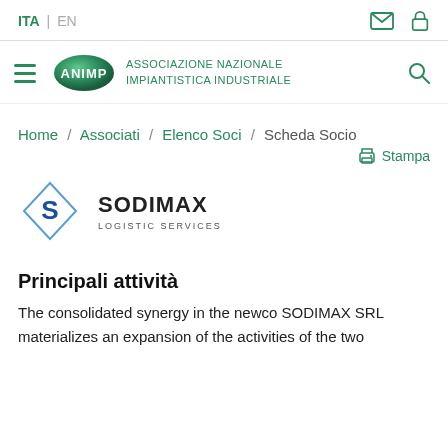ITA | EN
[Figure (logo): ANIMP - Associazione Nazionale Impiantistica Industriale logo with green oval and hamburger menu]
Home / Associati / Elenco Soci / Scheda Socio
Stampa
[Figure (logo): SODIMAX Logistic Services logo with blue diamond S icon and black text]
Principali attività
The consolidated synergy in the newco SODIMAX SRL materializes an expansion of the activities of the two